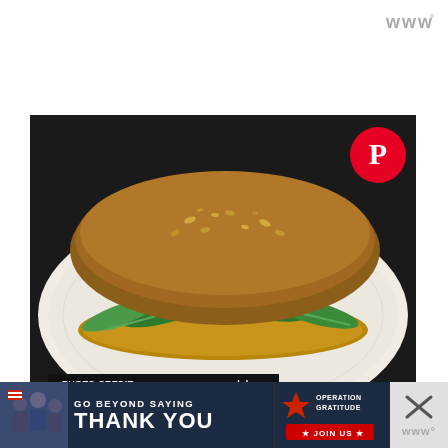[Figure (logo): Small WWW° style logo in gray at top right]
[Figure (photo): A sandwich on a white plate with a seeded whole-grain bun, filled with arugula, tomato, and pulled/shredded meat, on a dark background. A red Pinterest button overlays the top-right corner.]
PHOTO CREDIT: www.yummymummyclub.ca
[Figure (infographic): Advertisement banner: GO BEYOND SAYING THANK YOU — Operation Gratitude JOIN US, with people in background on left side. Close button and secondary logo on right.]